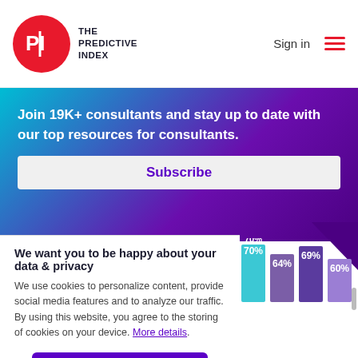THE PREDICTIVE INDEX  Sign in
Join 19K+ consultants and stay up to date with our top resources for consultants.
Subscribe
People are less
[Figure (bar-chart): Bar chart]
We want you to be happy about your data & privacy
We use cookies to personalize content, provide social media features and to analyze our traffic. By using this website, you agree to the storing of cookies on your device. More details.
I Understand